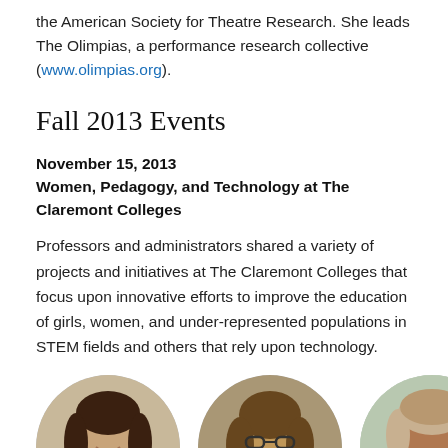the American Society for Theatre Research. She leads The Olimpias, a performance research collective (www.olimpias.org).
Fall 2013 Events
November 15, 2013
Women, Pedagogy, and Technology at The Claremont Colleges
Professors and administrators shared a variety of projects and initiatives at The Claremont Colleges that focus upon innovative efforts to improve the education of girls, women, and under-represented populations in STEM fields and others that rely upon technology.
[Figure (photo): Three circular portrait photos of women presenters at the November 15, 2013 event at The Claremont Colleges.]